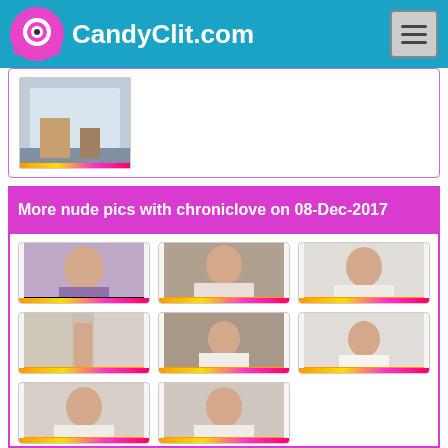CandyClit.com
[Figure (photo): Thumbnail image of a room interior, partial view]
More nude pics with chroniclove on 08-Dec-2017
[Figure (photo): Grid of 8 thumbnail photos of a young woman in various poses]
[Figure (photo): Partial row of 2 more thumbnail photos at bottom]